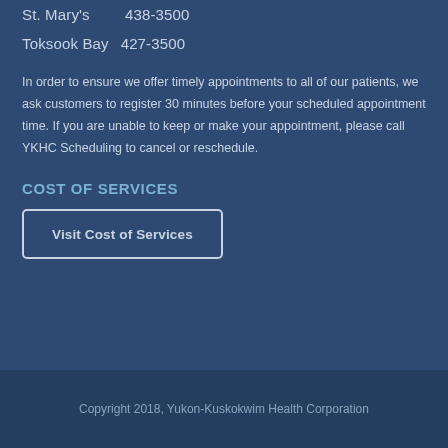St. Mary's    438-3500
Toksook Bay   427-3500
In order to ensure we offer timely appointments to all of our patients, we ask customers to register 30 minutes before your scheduled appointment time. If you are unable to keep or make your appointment, please call YKHC Scheduling to cancel or reschedule.
COST OF SERVICES
Visit Cost of Services
Copyright 2018, Yukon-Kuskokwim Health Corporation